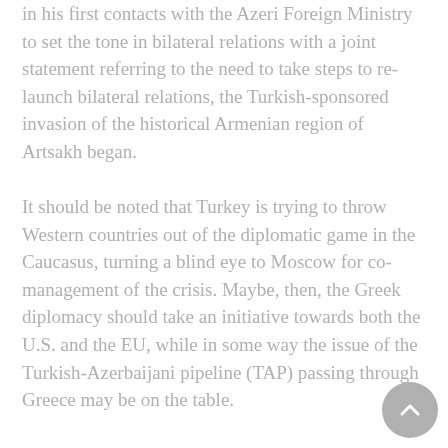in his first contacts with the Azeri Foreign Ministry to set the tone in bilateral relations with a joint statement referring to the need to take steps to re-launch bilateral relations, the Turkish-sponsored invasion of the historical Armenian region of Artsakh began.
It should be noted that Turkey is trying to throw Western countries out of the diplomatic game in the Caucasus, turning a blind eye to Moscow for co-management of the crisis. Maybe, then, the Greek diplomacy should take an initiative towards both the U.S. and the EU, while in some way the issue of the Turkish-Azerbaijani pipeline (TAP) passing through Greece may be on the table.
The urgent visit Greek Foreign Minister Nikos Dend...